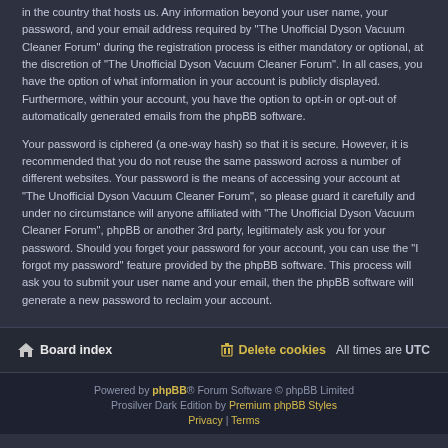in the country that hosts us. Any information beyond your user name, your password, and your email address required by "The Unofficial Dyson Vacuum Cleaner Forum" during the registration process is either mandatory or optional, at the discretion of "The Unofficial Dyson Vacuum Cleaner Forum". In all cases, you have the option of what information in your account is publicly displayed. Furthermore, within your account, you have the option to opt-in or opt-out of automatically generated emails from the phpBB software.
Your password is ciphered (a one-way hash) so that it is secure. However, it is recommended that you do not reuse the same password across a number of different websites. Your password is the means of accessing your account at "The Unofficial Dyson Vacuum Cleaner Forum", so please guard it carefully and under no circumstance will anyone affiliated with "The Unofficial Dyson Vacuum Cleaner Forum", phpBB or another 3rd party, legitimately ask you for your password. Should you forget your password for your account, you can use the "I forgot my password" feature provided by the phpBB software. This process will ask you to submit your user name and your email, then the phpBB software will generate a new password to reclaim your account.
Board index | Delete cookies  All times are UTC
Powered by phpBB® Forum Software © phpBB Limited
Prosilver Dark Edition by Premium phpBB Styles
Privacy | Terms